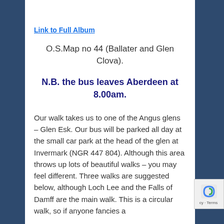Link to Full Album
O.S.Map no 44 (Ballater and Glen Clova).
N.B. the bus leaves Aberdeen at 8.00am.
Our walk takes us to one of the Angus glens – Glen Esk. Our bus will be parked all day at the small car park at the head of the glen at Invermark (NGR 447 804). Although this area throws up lots of beautiful walks – you may feel different. Three walks are suggested below, although Loch Lee and the Falls of Damff are the main walk. This is a circular walk, so if anyone fancies a